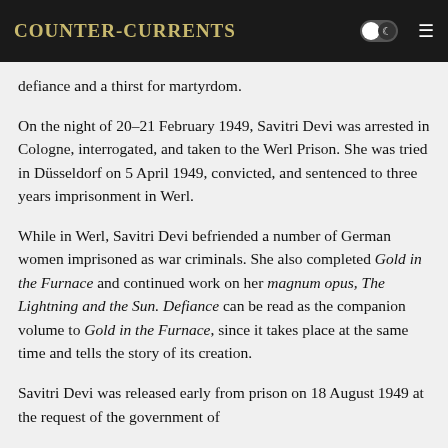Counter-Currents
defiance and a thirst for martyrdom.
On the night of 20–21 February 1949, Savitri Devi was arrested in Cologne, interrogated, and taken to the Werl Prison. She was tried in Düsseldorf on 5 April 1949, convicted, and sentenced to three years imprisonment in Werl.
While in Werl, Savitri Devi befriended a number of German women imprisoned as war criminals. She also completed Gold in the Furnace and continued work on her magnum opus, The Lightning and the Sun. Defiance can be read as the companion volume to Gold in the Furnace, since it takes place at the same time and tells the story of its creation.
Savitri Devi was released early from prison on 18 August 1949 at the request of the government of